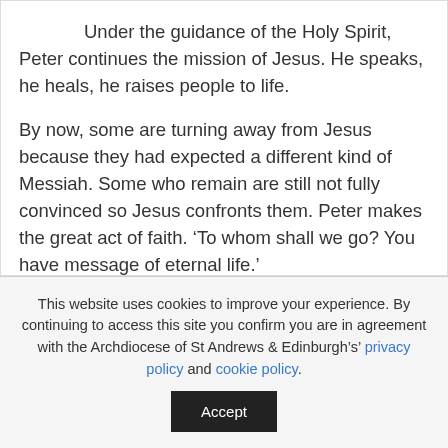Under the guidance of the Holy Spirit, Peter continues the mission of Jesus. He speaks, he heals, he raises people to life.
By now, some are turning away from Jesus because they had expected a different kind of Messiah. Some who remain are still not fully convinced so Jesus confronts them. Peter makes the great act of faith. ‘To whom shall we go? You have message of eternal life.’
This website uses cookies to improve your experience. By continuing to access this site you confirm you are in agreement with the Archdiocese of St Andrews & Edinburgh's' privacy policy and cookie policy.